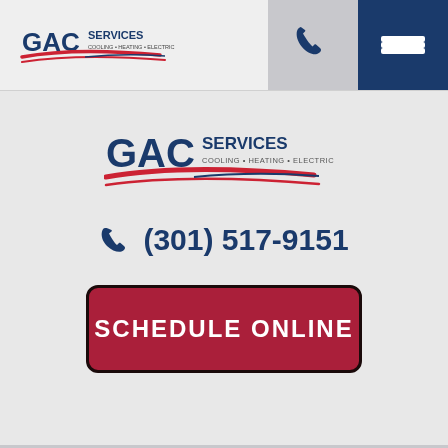[Figure (logo): GAC Services logo - small version in header, showing GAC in bold blue/red text with SERVICES and COOLING • HEATING • ELECTRIC tagline]
[Figure (logo): Phone icon in header navigation]
[Figure (logo): Hamburger menu icon (3 white lines) on dark blue background in header]
[Figure (logo): GAC Services logo - large centered version, showing GAC in bold blue/red text with SERVICES and COOLING • HEATING • ELECTRIC tagline]
(301) 517-9151
SCHEDULE ONLINE